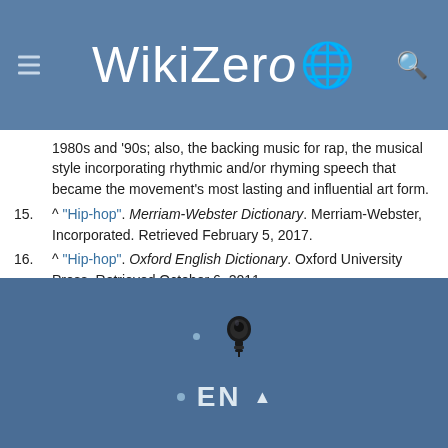WikiZero
1980s and '90s; also, the backing music for rap, the musical style incorporating rhythmic and/or rhyming speech that became the movement's most lasting and influential art form.
15. ^ "Hip-hop". Merriam-Webster Dictionary. Merriam-Webster, Incorporated. Retrieved February 5, 2017.
16. ^ "Hip-hop". Oxford English Dictionary. Oxford University Press. Retrieved October 6, 2011.
17. ^ McNamee, David (January 11, 2010). "Hey, what's that sound: Turntablism". The Guardian. Retrieved March 22, 2017.
18. ^ Dyson, Michael Eric, 2007, Know What I Mean?: Reflections on Hip-Hop, Basic Civitas Books, p. 6.
19. ^ Berry, Peter A. "Nielsen Says Hip-Hop/R&B Is Now Most Consumed Genre in US..." Retrieved November 20, 2021.
EN